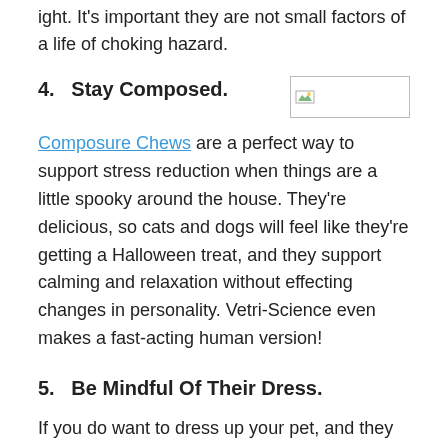ight. It's important they are not small factors of a life of choking hazard.
4.   Stay Composed.
[Figure (photo): Broken/missing image placeholder icon]
Composure Chews are a perfect way to support stress reduction when things are a little spooky around the house. They're delicious, so cats and dogs will feel like they're getting a Halloween treat, and they support calming and relaxation without effecting changes in personality. Vetri-Science even makes a fast-acting human version!
5.   Be Mindful Of Their Dress.
If you do want to dress up your pet, and they seem agreeable, be mindful. Don't dress them in a costume that